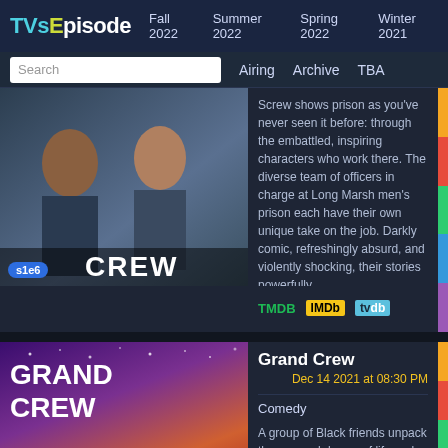TVsEpisode  Fall 2022  Summer 2022  Spring 2022  Winter 2021
Search  Airing  Archive  TBA
Screw shows prison as you've never seen it before: through the embattled, inspiring characters who work there. The diverse team of officers in charge at Long Marsh men's prison each have their own unique take on the job. Darkly comic, refreshingly absurd, and violently shocking, their stories powerfully
TMDB  IMDb  tvdb  s1e6
Grand Crew
Dec 14 2021 at 08:30 PM
Comedy
A group of Black friends unpack the ups and downs of life and love at a wine bar.
s1e10